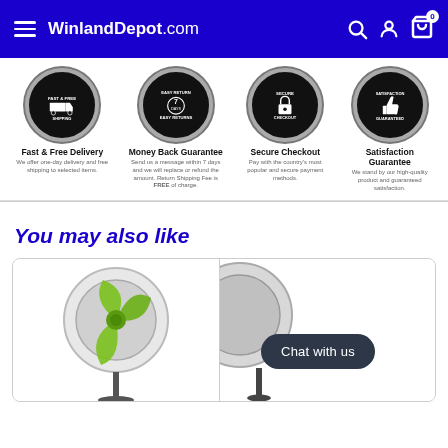WinlandDepot.com
[Figure (infographic): Four trust/badge icons: Fast & Free Delivery (truck icon), Money Back Guarantee (7 days return icon), Secure Checkout (lock icon), Satisfaction Guarantee (thumbs up icon)]
Fast & Free Delivery
We offer one-day delivery and free shipping to selected items.
Money Back Guarantee
Send us a message within 7 days and we will replace or refund the amount. Return Shipping Fee is FREE of charge.
Secure Checkout
Pay with the country's most popular and secure payment methods.
Satisfaction Guarantee
We stand by our high-quality product and guaranteed satisfaction.
You may also like
[Figure (photo): Electric fan with green blades on a stand]
[Figure (photo): Partially visible electric fan on a stand]